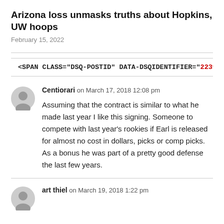Arizona loss unmasks truths about Hopkins, UW hoops
February 15, 2022
<SPAN CLASS="DSQ-POSTID" DATA-DSQIDENTIFIER="22394...
Centiorari on March 17, 2018 12:08 pm
Assuming that the contract is similar to what he made last year I like this signing. Someone to compete with last year's rookies if Earl is released for almost no cost in dollars, picks or comp picks. As a bonus he was part of a pretty good defense the last few years.
art thiel on March 19, 2018 1:22 pm